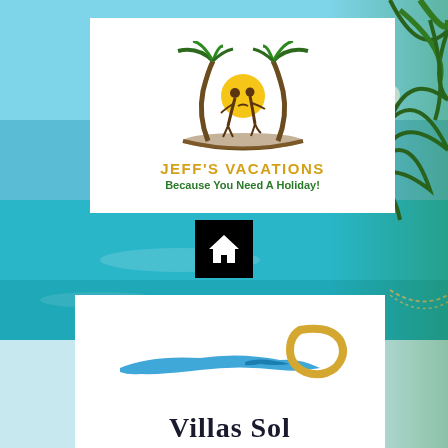[Figure (photo): Beach background with turquoise water, blue sky, palm fronds on right, hammock visible on right side]
[Figure (logo): Jeff's Vacations logo: two palm trees with a couple silhouette and yellow sun, brown arch base. Text: JEFF'S VACATIONS in yellow, Because You Need A Holiday! in green]
[Figure (logo): Black square with white house/home icon]
[Figure (logo): Villas Sol logo: blue brushstroke island shape with yellow circular sun stroke. Text: VILLAS SOL in dark serif font]